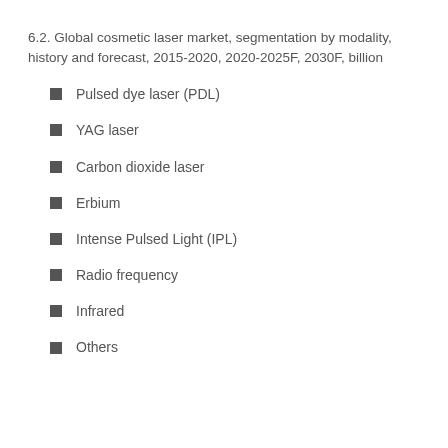6.2. Global cosmetic laser market, segmentation by modality, history and forecast, 2015-2020, 2020-2025F, 2030F, billion
Pulsed dye laser (PDL)
YAG laser
Carbon dioxide laser
Erbium
Intense Pulsed Light (IPL)
Radio frequency
Infrared
Others